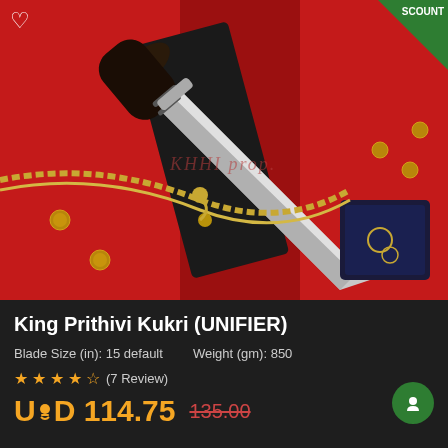[Figure (photo): A kukri knife with dark wooden handle and silver blade displayed on a red military uniform with gold embroidery, brass buttons, and gold braided cord. A black leather sheath is visible. The blade is large and curved. A watermark reads 'KHHI prop.' on the image.]
King Prithivi Kukri (UNIFIER)
Blade Size (in): 15 default    Weight (gm): 850
★★★★½ (7 Review)
USD 114.75  135.00